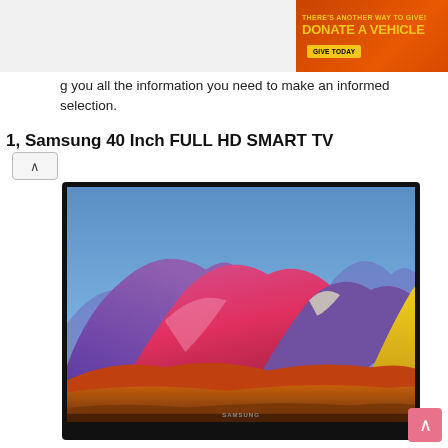[Figure (other): Orange/red advertisement banner: 'THERE'S ANOTHER WAY TO GIVE! DONATE A VEHICLE' with yellow 'GIVE TODAY' button and white car image on right]
g you all the information you need to make an informed selection.
1, Samsung 40 Inch FULL HD SMART TV
[Figure (photo): Samsung 40 inch Smart TV with black bezel displaying a colorful mountain landscape scene with vivid red, purple, orange and yellow mountains against a blue sky]